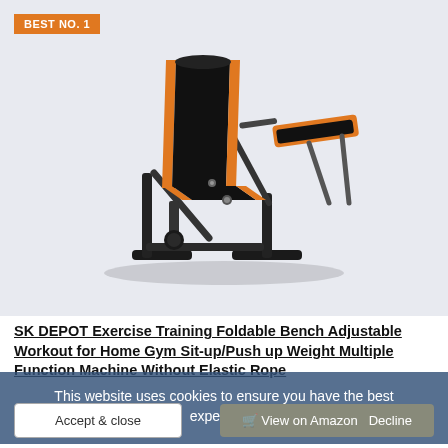BEST NO. 1
[Figure (photo): SK DEPOT adjustable workout bench with orange and black padding, shown in incline position with leg rollers, on a light grey background.]
SK DEPOT Exercise Training Foldable Bench Adjustable Workout for Home Gym Sit-up/Push up Weight Multiple Function Machine Without Elastic Rope
CDN$ 129.99
Prime
This website uses cookies to ensure you have the best experience
Accept & close
Decline
View on Amazon